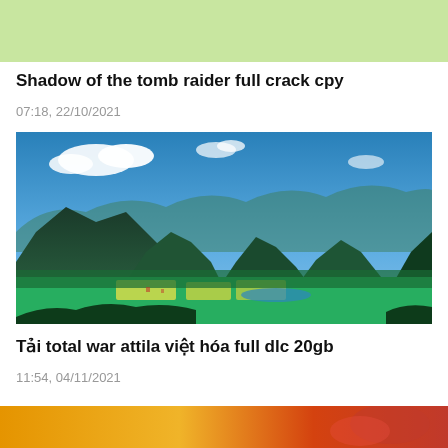[Figure (other): Light green banner/advertisement area at the top of the page]
Shadow of the tomb raider full crack cpy
07:18, 22/10/2021
[Figure (photo): Scenic landscape photo showing karst mountains, green valleys with rice fields, a river in the middle distance, blue sky with white clouds — appears to be a Vietnamese countryside scene]
Tải total war attila việt hóa full dlc 20gb
11:54, 04/11/2021
[Figure (photo): Partial banner/advertisement image visible at the bottom of the page, with warm orange/red tones]